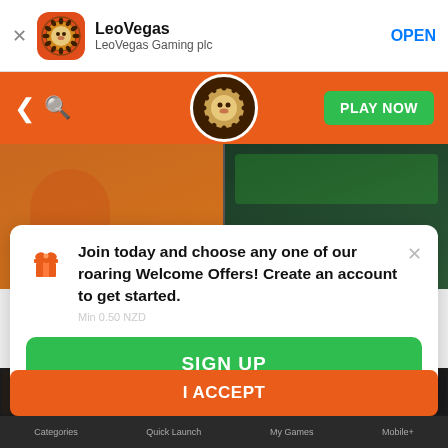LeoVegas — LeoVegas Gaming plc — OPEN
[Figure (screenshot): LeoVegas app store header with orange icon, navigation bar with PLAY NOW button, and background casino images]
Join today and choose any one of our roaring Welcome Offers! Create an account to get started.
SIGN UP
To personalise content, tailor your experience, and analyse our traffic we use cookies. By using our website you agree to use of the cookies in accordance with our Cookies Policy
I ACCEPT
Categories   Quick Launch   My Games   Mobile+